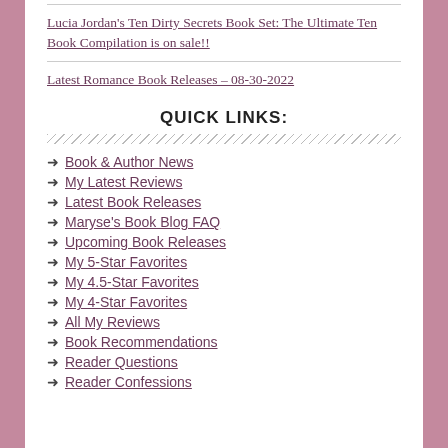Lucia Jordan's Ten Dirty Secrets Book Set: The Ultimate Ten Book Compilation is on sale!!
Latest Romance Book Releases – 08-30-2022
QUICK LINKS:
Book & Author News
My Latest Reviews
Latest Book Releases
Maryse's Book Blog FAQ
Upcoming Book Releases
My 5-Star Favorites
My 4.5-Star Favorites
My 4-Star Favorites
All My Reviews
Book Recommendations
Reader Questions
Reader Confessions